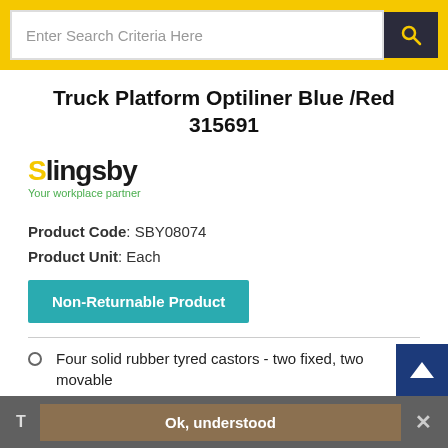Enter Search Criteria Here
Truck Platform Optiliner Blue /Red 315691
[Figure (logo): Slingsby logo with tagline 'Your workplace partner']
Product Code: SBY08074
Product Unit: Each
Non-Returnable Product
Four solid rubber tyred castors - two fixed, two movable
Hinged handle locks automatically, and unlocks easily via the pedal
Featured handle is more ergonomic than traditional rubber
T  Ok, understood  ×